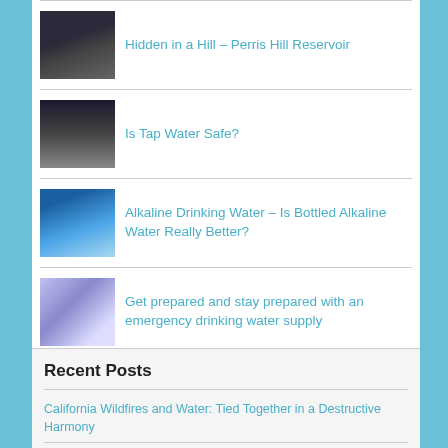Hidden in a Hill – Perris Hill Reservoir
Is Tap Water Safe?
Alkaline Drinking Water – Is Bottled Alkaline Water Really Better?
Get prepared and stay prepared with an emergency drinking water supply
Recent Posts
California Wildfires and Water: Tied Together in a Destructive Harmony
When in drought, step up water-saving efforts